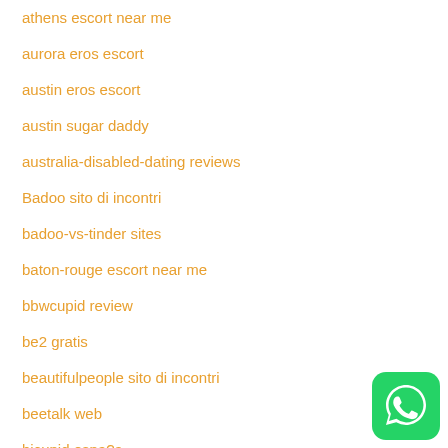athens escort near me
aurora eros escort
austin eros escort
austin sugar daddy
australia-disabled-dating reviews
Badoo sito di incontri
badoo-vs-tinder sites
baton-rouge escort near me
bbwcupid review
be2 gratis
beautifulpeople sito di incontri
beetalk web
bicupid espa?a
birmingham eros escort
blackchristianpeoplemeet reviews